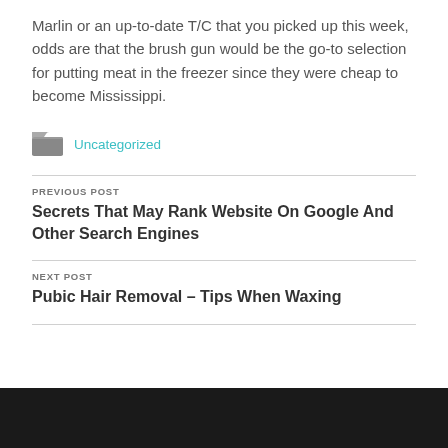Marlin or an up-to-date T/C that you picked up this week, odds are that the brush gun would be the go-to selection for putting meat in the freezer since they were cheap to become Mississippi.
Uncategorized
PREVIOUS POST
Secrets That May Rank Website On Google And Other Search Engines
NEXT POST
Pubic Hair Removal – Tips When Waxing